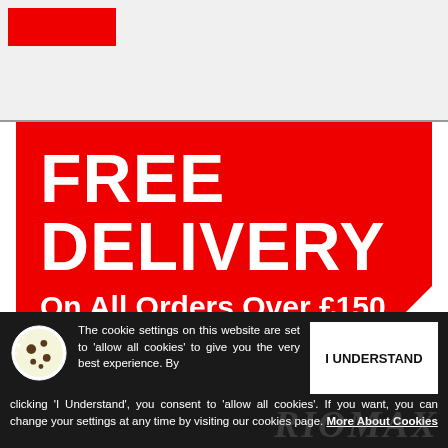[Figure (logo): Red rectangular logo in top-left corner]
[Figure (infographic): Red advertisement banner with text: FREE DELIVERY, On All Orders Over £150, CLICK HERE...]
The cookie settings on this website are set to 'allow all cookies' to give you the very best experience. By clicking 'I Understand', you consent to 'allow all cookies'. If you want, you can change your settings at any time by visiting our cookies page. More About Cookies